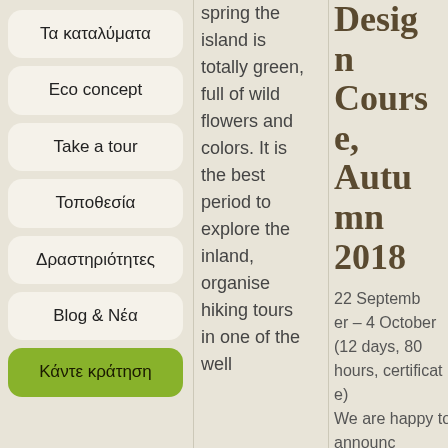Τα καταλύματα
Eco concept
Take a tour
Τοποθεσία
Δραστηριότητες
Blog & Νέα
Κάντε κράτηση
spring the island is totally green, full of wild flowers and colors. It is the best period to explore the inland, organise hiking tours in one of the well
Design Course, Autumn 2018
22 September – 4 October (12 days, 80 hours, certificate)
We are happy to announce the